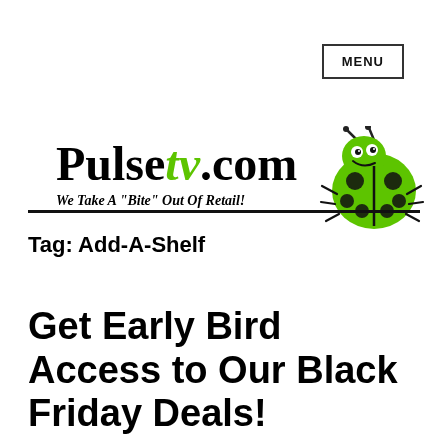MENU
[Figure (logo): PulseTV.com logo with ladybug mascot and tagline 'We Take A "Bite" Out Of Retail!']
Tag: Add-A-Shelf
Get Early Bird Access to Our Black Friday Deals!